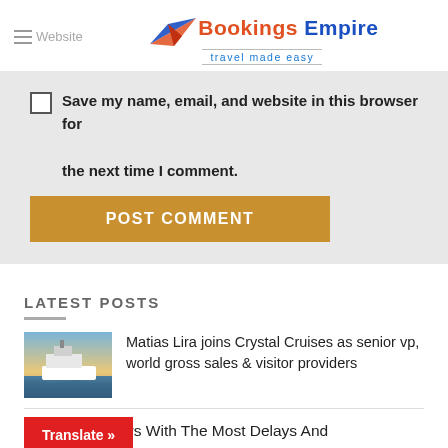Bookings Empire — travel made easy
Save my name, email, and website in this browser for the next time I comment.
POST COMMENT
LATEST POSTS
Matias Lira joins Crystal Cruises as senior vp, world gross sales & visitor providers
ys With The Most Delays And ons This Month